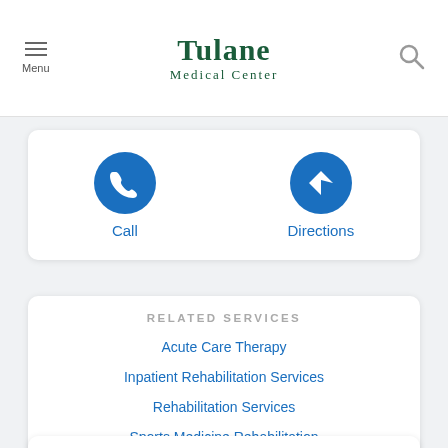Tulane Medical Center
[Figure (other): Call and Directions action buttons with blue circular icons]
RELATED SERVICES
Acute Care Therapy
Inpatient Rehabilitation Services
Rehabilitation Services
Sports Medicine Rehabilitation